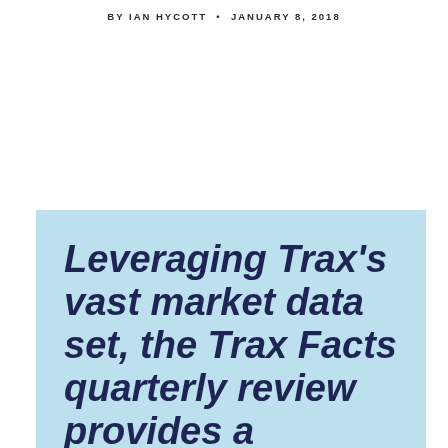BY IAN HYCOTT  •  JANUARY 8, 2018
Leveraging Trax's vast market data set, the Trax Facts quarterly review provides a detailed analysis of activity across fixed